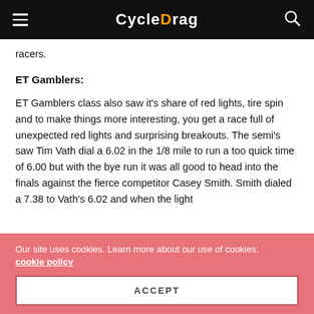CycleDrag
racers.
ET Gamblers:
ET Gamblers class also saw it's share of red lights, tire spin and to make things more interesting, you get a race full of unexpected red lights and surprising breakouts. The semi's saw Tim Vath dial a 6.02 in the 1/8 mile to run a too quick time of 6.00 but with the bye run it was all good to head into the finals against the fierce competitor Casey Smith. Smith dialed a 7.38 to Vath's 6.02 and when the light went...
Our site uses cookies. Learn more about our use of cookies: cookie policy
ACCEPT